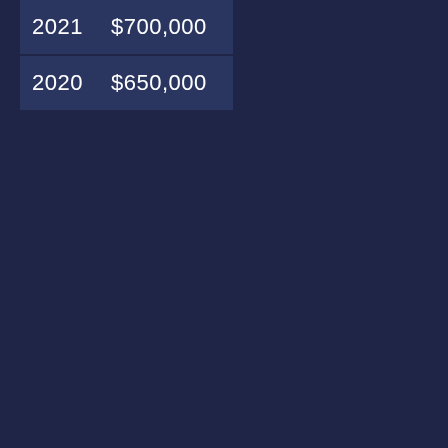| 2021 | $700,000 |
| 2020 | $650,000 |